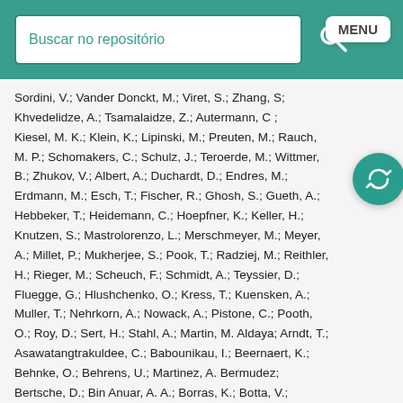Buscar no repositório
Sordini, V.; Vander Donckt, M.; Viret, S.; Zhang, S.; Khvedelidze, A.; Tsamalaidze, Z.; Autermann, C.; Kiesel, M. K.; Klein, K.; Lipinski, M.; Preuten, M.; Rauch, M. P.; Schomakers, C.; Schulz, J.; Teroerde, M.; Wittmer, B.; Zhukov, V.; Albert, A.; Duchardt, D.; Endres, M.; Erdmann, M.; Esch, T.; Fischer, R.; Ghosh, S.; Gueth, A.; Hebbeker, T.; Heidemann, C.; Hoepfner, K.; Keller, H.; Knutzen, S.; Mastrolorenzo, L.; Merschmeyer, M.; Meyer, A.; Millet, P.; Mukherjee, S.; Pook, T.; Radziej, M.; Reithler, H.; Rieger, M.; Scheuch, F.; Schmidt, A.; Teyssier, D.; Fluegge, G.; Hlushchenko, O.; Kress, T.; Kuensken, A.; Muller, T.; Nehrkorn, A.; Nowack, A.; Pistone, C.; Pooth, O.; Roy, D.; Sert, H.; Stahl, A.; Martin, M. Aldaya; Arndt, T.; Asawatangtrakuldee, C.; Babounikau, I.; Beernaert, K.; Behnke, O.; Behrens, U.; Martinez, A. Bermudez; Bertsche, D.; Bin Anuar, A. A.; Borras, K.; Botta, V.; Campbell, A.; Connor, P.; Contreras-Campana, C.; Costanza, F.; Danilov, V.; De Wit, A.; Defranchis, M. M.; Pardos, C. Diez; Damiani, D. Dominguez; Eckerlin, G.;